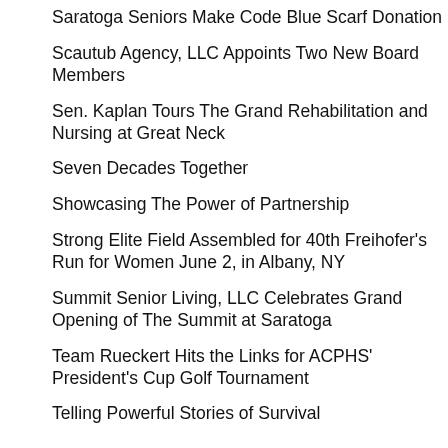Saratoga Seniors Make Code Blue Scarf Donation
Scautub Agency, LLC Appoints Two New Board Members
Sen. Kaplan Tours The Grand Rehabilitation and Nursing at Great Neck
Seven Decades Together
Showcasing The Power of Partnership
Strong Elite Field Assembled for 40th Freihofer's Run for Women June 2, in Albany, NY
Summit Senior Living, LLC Celebrates Grand Opening of The Summit at Saratoga
Team Rueckert Hits the Links for ACPHS' President's Cup Golf Tournament
Telling Powerful Stories of Survival